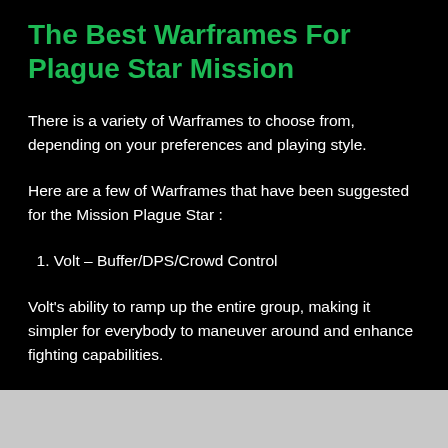The Best Warframes For Plague Star Mission
There is a variety of Warframes to choose from, depending on your preferences and playing style.
Here are a few of Warframes that have been suggested for the Mission Plague Star :
1. Volt – Buffer/DPS/Crowd Control
Volt's ability to ramp up the entire group, making it simpler for everybody to maneuver around and enhance fighting capabilities.